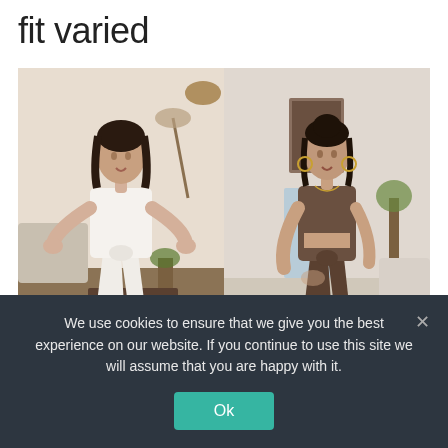fit varied
[Figure (photo): Two side-by-side photos of the same woman wearing a tied crop top and wide-leg pants: left photo in cream/beige outfit in a living room setting; right photo in brown outfit in a similar room setting.]
We use cookies to ensure that we give you the best experience on our website. If you continue to use this site we will assume that you are happy with it.
Ok